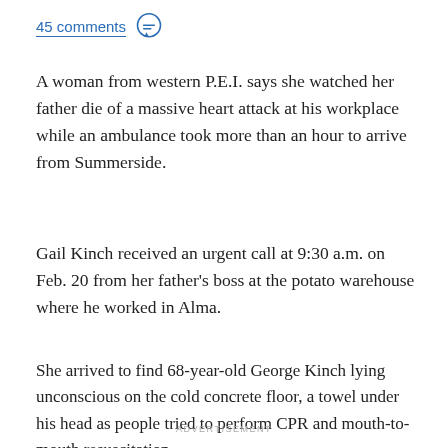45 comments
A woman from western P.E.I. says she watched her father die of a massive heart attack at his workplace while an ambulance took more than an hour to arrive from Summerside.
Gail Kinch received an urgent call at 9:30 a.m. on Feb. 20 from her father's boss at the potato warehouse where he worked in Alma.
She arrived to find 68-year-old George Kinch lying unconscious on the cold concrete floor, a towel under his head as people tried to perform CPR and mouth-to-mouth resuscitation.
ADVERTISEMENT